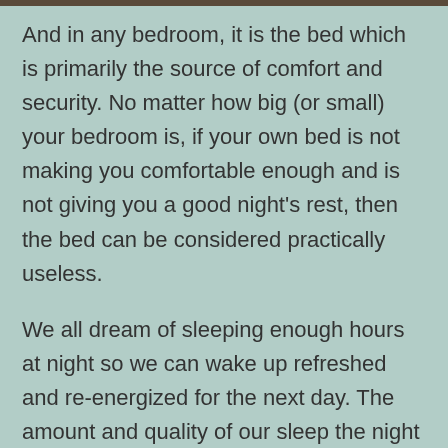And in any bedroom, it is the bed which is primarily the source of comfort and security. No matter how big (or small) your bedroom is, if your own bed is not making you comfortable enough and is not giving you a good night's rest, then the bed can be considered practically useless.
We all dream of sleeping enough hours at night so we can wake up refreshed and re-energized for the next day. The amount and quality of our sleep the night before is crucial on how we will face the next day's challenges.